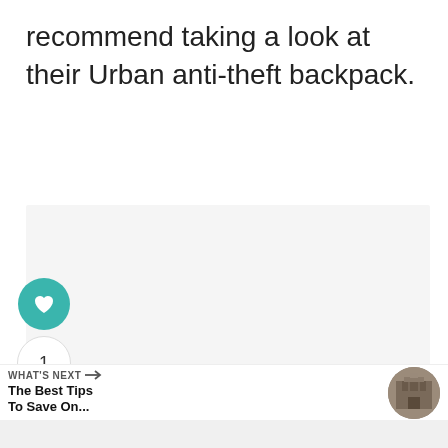recommend taking a look at their Urban anti-theft backpack.
[Figure (other): Large light gray placeholder image area for product photo]
[Figure (infographic): Social interaction widgets: heart/like button (teal circle), count bubble showing '1', and share button (circle with share icon)]
WHAT'S NEXT → The Best Tips To Save On...
[Figure (photo): Circular thumbnail photo of a building/architecture for the 'What's Next' article preview]